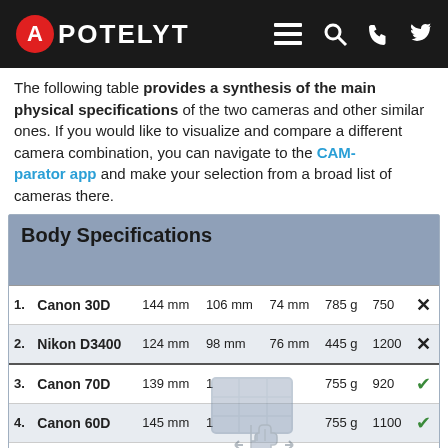APOTELYT
The following table provides a synthesis of the main physical specifications of the two cameras and other similar ones. If you would like to visualize and compare a different camera combination, you can navigate to the CAMparator app and make your selection from a broad list of cameras there.
| # | Camera | Width | Height | Depth | Weight | Shots | Weather |
| --- | --- | --- | --- | --- | --- | --- | --- |
| 1. | Canon 30D | 144 mm | 106 mm | 74 mm | 785 g | 750 | ✗ |
| 2. | Nikon D3400 | 124 mm | 98 mm | 76 mm | 445 g | 1200 | ✗ |
| 3. | Canon 70D | 139 mm | 1 |  | 755 g | 920 | ✓ |
| 4. | Canon 60D | 145 mm | 1 |  | 755 g | 1100 | ✓ |
| 5. | Canon 7D | 148 mm | 1 |  | 860 g | 800 | ✓ |